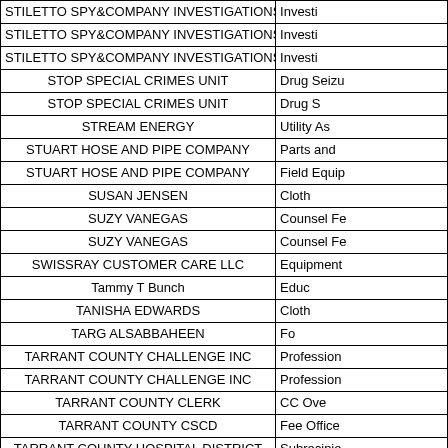| Vendor Name | Category |
| --- | --- |
| STILETTO SPY&COMPANY INVESTIGATIONS | Investi |
| STILETTO SPY&COMPANY INVESTIGATIONS | Investi |
| STILETTO SPY&COMPANY INVESTIGATIONS | Investi |
| STOP SPECIAL CRIMES UNIT | Drug Seizu |
| STOP SPECIAL CRIMES UNIT | Drug S |
| STREAM ENERGY | Utility As |
| STUART HOSE AND PIPE COMPANY | Parts and |
| STUART HOSE AND PIPE COMPANY | Field Equip |
| SUSAN JENSEN | Cloth |
| SUZY VANEGAS | Counsel Fe |
| SUZY VANEGAS | Counsel Fe |
| SWISSRAY CUSTOMER CARE LLC | Equipment |
| Tammy T Bunch | Educ |
| TANISHA EDWARDS | Cloth |
| TARG ALSABBAHEEN | Fo |
| TARRANT COUNTY CHALLENGE INC | Profession |
| TARRANT COUNTY CHALLENGE INC | Profession |
| TARRANT COUNTY CLERK | CC Ove |
| TARRANT COUNTY CSCD | Fee Office |
| TARRANT COUNTY HOSPITAL DISTRICT | Subrecipie |
| TARRANT COUNTY HOSPITAL DISTRICT | Subrecipie |
| TARRANT COUNTY HOSPITAL DISTRICT | Subrecipie |
| TARRANT COUNTY HOSPITAL DISTRICT | Subrecipie |
| TARRANT COUNTY SHERIFF | Travel-Taxe |